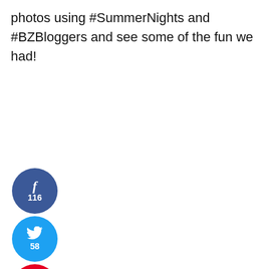photos using #SummerNights and #BZBloggers and see some of the fun we had!
[Figure (infographic): Social share buttons: Facebook (116), Twitter (58), Pinterest (2). Total 176 SHARES.]